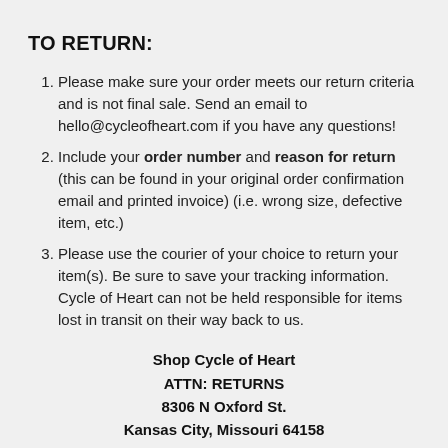TO RETURN:
Please make sure your order meets our return criteria and is not final sale. Send an email to hello@cycleofheart.com if you have any questions!
Include your order number and reason for return (this can be found in your original order confirmation email and printed invoice) (i.e. wrong size, defective item, etc.)
Please use the courier of your choice to return your item(s). Be sure to save your tracking information. Cycle of Heart can not be held responsible for items lost in transit on their way back to us.
Shop Cycle of Heart
ATTN: RETURNS
8306 N Oxford St.
Kansas City, Missouri 64158